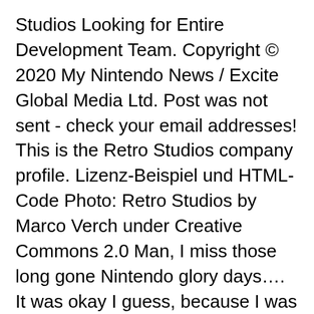Studios Looking for Entire Development Team. Copyright © 2020 My Nintendo News / Excite Global Media Ltd. Post was not sent - check your email addresses! This is the Retro Studios company profile. Lizenz-Beispiel und HTML-Code Photo: Retro Studios by Marco Verch under Creative Commons 2.0 Man, I miss those long gone Nintendo glory days…. It was okay I guess, because I was very passionate on the Donkey Kong County series and I wanted to help the developers how to code the game right with practice. That said, this game could still be good. Shinesparkers says that one of the roles advertised includes someone to help out on boss designs… ( Log Out /  Danio 13 is eating I see, Klungo bring him that Grape Hi-C. I'm not sure about your salt, please dont blame me its not my fault. News. A plastic sea to